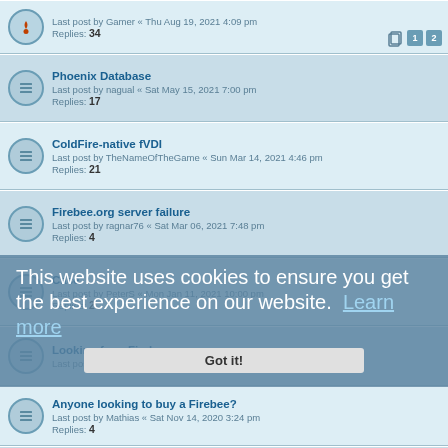Last post by Gamer « Thu Aug 19, 2021 4:09 pm
Replies: 34
Phoenix Database
Last post by nagual « Sat May 15, 2021 7:00 pm
Replies: 17
ColdFire-native fVDI
Last post by TheNameOfTheGame « Sun Mar 14, 2021 4:46 pm
Replies: 21
Firebee.org server failure
Last post by ragnar76 « Sat Mar 06, 2021 7:48 pm
Replies: 4
Case
Last post by PeterS « Mon Jan 11, 2021 10:00 pm
Replies: 2
Looking for a Firebee.
Last post by AndresPlaza « Thu Nov 19, 2020 3:25 am
Anyone looking to buy a Firebee?
Last post by Mathias « Sat Nov 14, 2020 3:24 pm
Replies: 4
This website uses cookies to ensure you get the best experience on our website. Learn more
Last post by ragnar76 « Mon Nov 09, 2020 9:39 am
Replies: 2
New Firmware, FPGA Configuration and FireTOS
Last post by Rustynutt « Fri Oct 09, 2020 6:42 pm
Replies: 33
Hatori